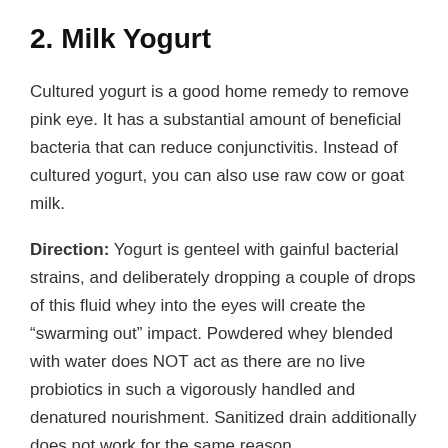2. Milk Yogurt
Cultured yogurt is a good home remedy to remove pink eye. It has a substantial amount of beneficial bacteria that can reduce conjunctivitis. Instead of cultured yogurt, you can also use raw cow or goat milk.
Direction: Yogurt is genteel with gainful bacterial strains, and deliberately dropping a couple of drops of this fluid whey into the eyes will create the “swarming out” impact. Powdered whey blended with water does NOT act as there are no live probiotics in such a vigorously handled and denatured nourishment. Sanitized drain additionally does not work for the same reason.